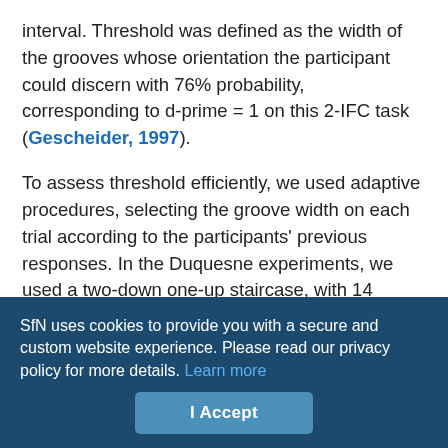interval. Threshold was defined as the width of the grooves whose orientation the participant could discern with 76% probability, corresponding to d-prime = 1 on this 2-IFC task (Gescheider, 1997).
To assess threshold efficiently, we used adaptive procedures, selecting the groove width on each trial according to the participants' previous responses. In the Duquesne experiments, we used a two-down one-up staircase, with 14 reversals per testing block, as described by Goldreich and Kanics (2003). The Duquesne data consisted of two testing blocks per participant, taken from a larger experiment of eight blocks (the two blocks were collected in a lit room with the participant's eyes open, corresponding to the McMaster testing condition; the other blocks, not relevant to the
SfN uses cookies to provide you with a secure and custom website experience. Please read our privacy policy for more details. Learn more